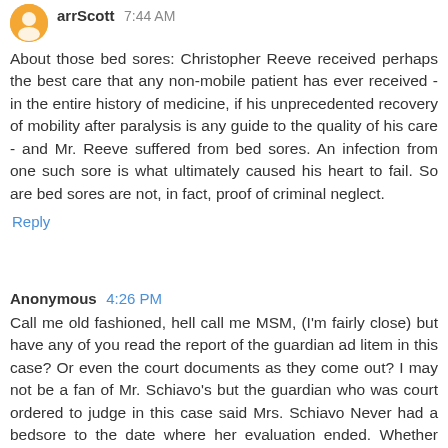arrScott 7:44 AM
About those bed sores: Christopher Reeve received perhaps the best care that any non-mobile patient has ever received - in the entire history of medicine, if his unprecedented recovery of mobility after paralysis is any guide to the quality of his care - and Mr. Reeve suffered from bed sores. An infection from one such sore is what ultimately caused his heart to fail. So are bed sores are not, in fact, proof of criminal neglect.
Reply
Anonymous 4:26 PM
Call me old fashioned, hell call me MSM, (I'm fairly close) but have any of you read the report of the guardian ad litem in this case? Or even the court documents as they come out? I may not be a fan of Mr. Schiavo's but the guardian who was court ordered to judge in this case said Mrs. Schiavo Never had a bedsore to the date where her evaluation ended. Whether that's changed I don't know. but hell we're researchers here right? Read the case logs.